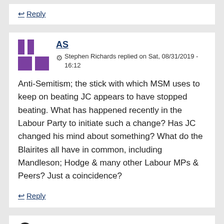↩ Reply
AS
Stephen Richards replied on Sat, 08/31/2019 - 16:12
Anti-Semitism; the stick with which MSM uses to keep on beating JC appears to have stopped beating. What has happened recently in the Labour Party to initiate such a change? Has JC changed his mind about something? What do the Blairites all have in common, including Mandleson; Hodge & many other Labour MPs & Peers? Just a coincidence?
↩ Reply
Add new comment